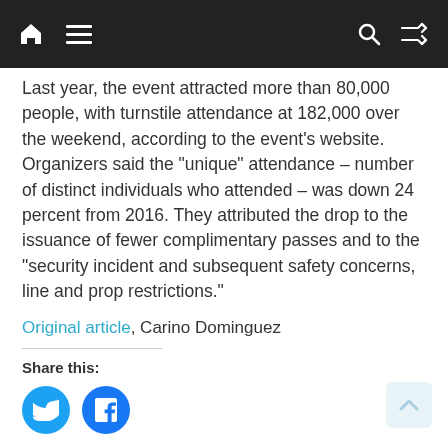Navigation bar with home, menu, search, and shuffle icons
Last year, the event attracted more than 80,000 people, with turnstile attendance at 182,000 over the weekend, according to the event’s website. Organizers said the “unique” attendance – number of distinct individuals who attended – was down 24 percent from 2016. They attributed the drop to the issuance of fewer complimentary passes and to the “security incident and subsequent safety concerns, line and prop restrictions.”
Original article, Carino Dominguez
Share this: